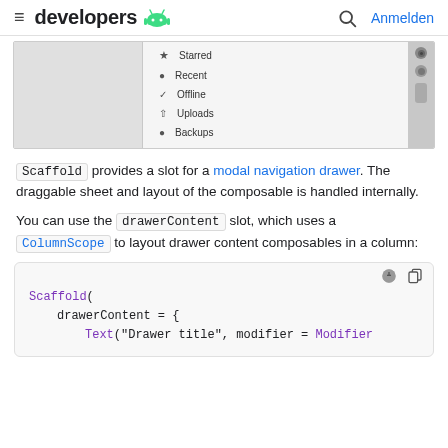developers  Anmelden
[Figure (screenshot): Android navigation drawer UI showing menu items: Starred, Recent, Offline, Uploads, Backups with icons]
Scaffold provides a slot for a modal navigation drawer. The draggable sheet and layout of the composable is handled internally.
You can use the drawerContent slot, which uses a ColumnScope to layout drawer content composables in a column:
Scaffold(
    drawerContent = {
        Text("Drawer title", modifier = Modifier